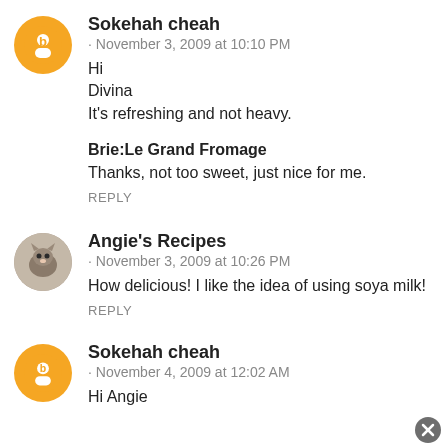Sokehah cheah · November 3, 2009 at 10:10 PM
Hi
Divina
It's refreshing and not heavy.

Brie:Le Grand Fromage
Thanks, not too sweet, just nice for me.
REPLY
Angie's Recipes · November 3, 2009 at 10:26 PM
How delicious! I like the idea of using soya milk!
REPLY
Sokehah cheah · November 4, 2009 at 12:02 AM
Hi Angie